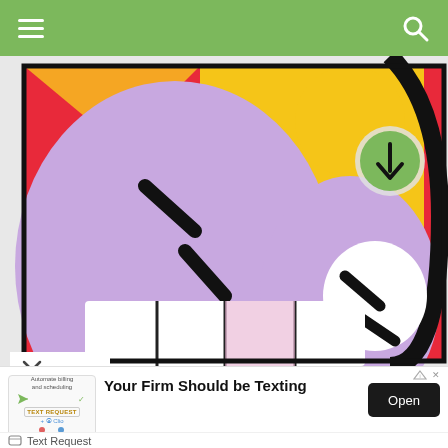[Figure (screenshot): Green app top navigation bar with hamburger menu (three horizontal lines) on the left and a search/magnifying glass icon on the right, on a green background]
[Figure (illustration): Colorful cartoon illustration of an angry purple face character with big white teeth, squinting eyes shown as black diagonal dashes, on a red and yellow background with bold black outlines]
[Figure (screenshot): Mobile advertisement banner: Text Request and Clio logo on left, headline 'Your Firm Should be Texting', Open button on right. Sub-line 'Text Request' with icon.]